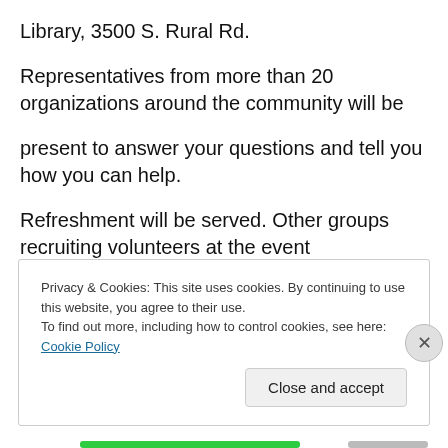Library, 3500 S. Rural Rd.
Representatives from more than 20 organizations around the community will be
present to answer your questions and tell you how you can help.
Refreshment will be served. Other groups recruiting volunteers at the event
Privacy & Cookies: This site uses cookies. By continuing to use this website, you agree to their use.
To find out more, including how to control cookies, see here: Cookie Policy
Close and accept